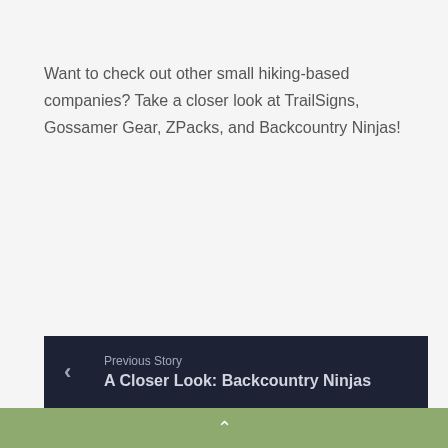Want to check out other small hiking-based companies? Take a closer look at TrailSigns, Gossamer Gear, ZPacks, and Backcountry Ninjas!
Previous Story
A Closer Look: Backcountry Ninjas